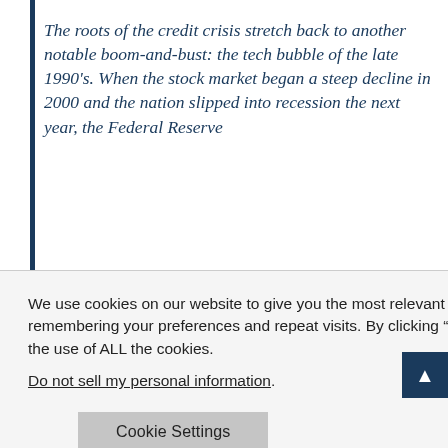The roots of the credit crisis stretch back to another notable boom-and-bust: the tech bubble of the late 1990's. When the stock market began a steep decline in 2000 and the nation slipped into recession the next year, the Federal Reserve
onomic damage.
We use cookies on our website to give you the most relevant experience by remembering your preferences and repeat visits. By clicking “Accept”, you consent to the use of ALL the cookies.
Do not sell my personal information.
Cookie Settings
Accept
Reject All
nts cheaper, and
ces up. In
tage of the rate
s the industry
nt down.
d to leverage
efault and
he pace of
lending direction. Banks and other investors had devised a plethora of complex financial instruments to slice up and resell the mortgage-backed securities and to hedge against